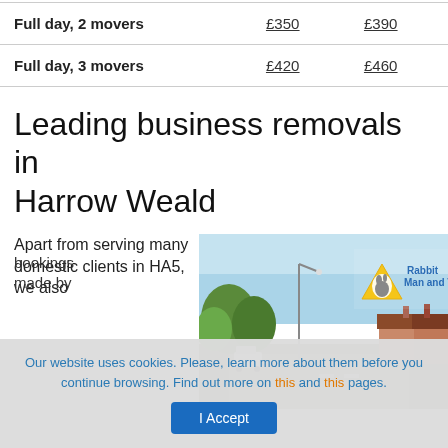| Full day, 2 movers | £350 | £390 |
| Full day, 3 movers | £420 | £460 |
Leading business removals in Harrow Weald
Apart from serving many domestic clients in HA5, we also
[Figure (photo): Street scene in Harrow Weald with Rabbit Man and Van logo overlay]
Our website uses cookies. Please, learn more about them before you continue browsing. Find out more on this and this pages.